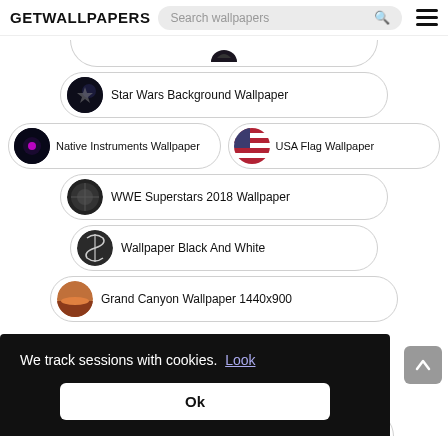GETWALLPAPERS   Search wallpapers
(partial card top)
Star Wars Background Wallpaper
Native Instruments Wallpaper
USA Flag Wallpaper
WWE Superstars 2018 Wallpaper
Wallpaper Black And White
Grand Canyon Wallpaper 1440x900
We track sessions with cookies. Look
Ok
Cute Thanksgiving Wallpapers For Desktop